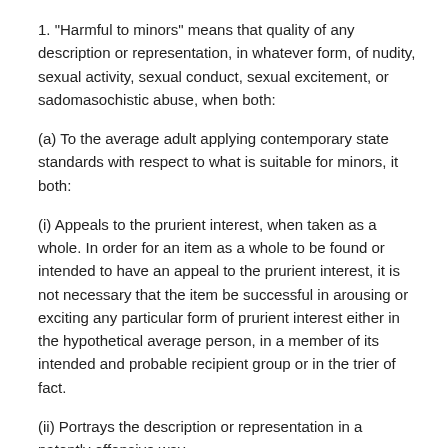1. "Harmful to minors" means that quality of any description or representation, in whatever form, of nudity, sexual activity, sexual conduct, sexual excitement, or sadomasochistic abuse, when both:
(a) To the average adult applying contemporary state standards with respect to what is suitable for minors, it both:
(i) Appeals to the prurient interest, when taken as a whole. In order for an item as a whole to be found or intended to have an appeal to the prurient interest, it is not necessary that the item be successful in arousing or exciting any particular form of prurient interest either in the hypothetical average person, in a member of its intended and probable recipient group or in the trier of fact.
(ii) Portrays the description or representation in a patently offensive way.